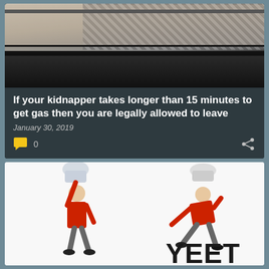[Figure (photo): Photo of a person lying in the trunk of a car, viewed from behind the open trunk.]
If your kidnapper takes longer than 15 minutes to get gas then you are legally allowed to leave
January 30, 2019
[Figure (photo): Meme image showing a man in a red shirt throwing another person, with the text YEET at the bottom right.]